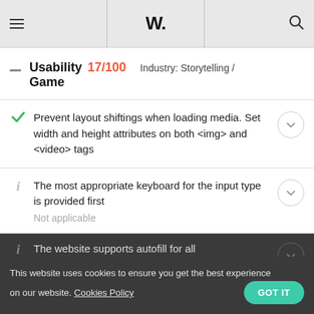W.
Usability 17/100  Industry: Storytelling / Game
Prevent layout shiftings when loading media. Set width and height attributes on both <img> and <video> tags
The most appropriate keyboard for the input type is provided first
Not applicable
The website supports autofill for all fields and the fields are tagged for the appropriate information from autofill
This website uses cookies to ensure you get the best experience on our website. Cookies Policy  GOT IT